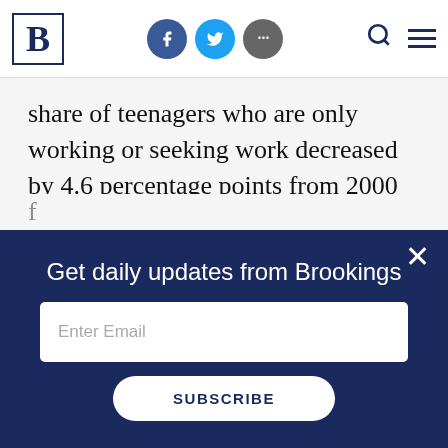Brookings Institution header with logo, social icons, search, and menu
share of teenagers who are only working or seeking work decreased by 4.6 percentage points from 2000 to 2018, amounting to a total decline in teen labor force participation of 15.9 percentage points.
Whether this reduction in labor force participation during the academic year is a matter of concern
Get daily updates from Brookings
Enter Email
SUBSCRIBE